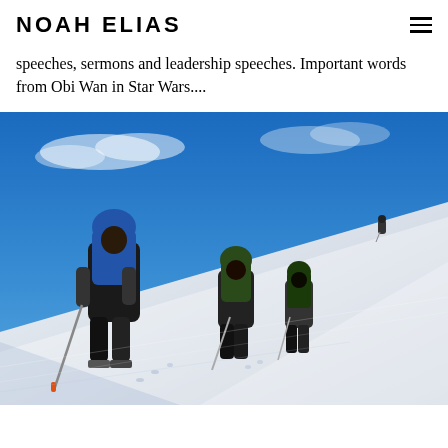NOAH ELIAS
speeches, sermons and leadership speeches. Important words from Obi Wan in Star Wars....
[Figure (photo): Three mountaineers with large backpacks and trekking poles hiking up a steep snow-covered slope against a bright blue sky, with another figure visible in the far distance.]